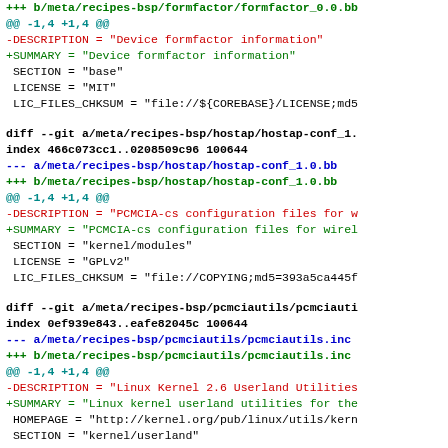[Figure (screenshot): Git diff output showing code changes in monospace terminal style with colored diff lines (red for removed, green for added, blue for file paths, cyan for hunk headers)]
+++ b/meta/recipes-bsp/formfactor/formfactor_0.0.bb
@@ -1,4 +1,4 @@
-DESCRIPTION = "Device formfactor information"
+SUMMARY = "Device formfactor information"
 SECTION = "base"
 LICENSE = "MIT"
 LIC_FILES_CHKSUM = "file://${COREBASE}/LICENSE;md5
diff --git a/meta/recipes-bsp/hostap/hostap-conf_1.
index 466c073cc1..0208509c96 100644
--- a/meta/recipes-bsp/hostap/hostap-conf_1.0.bb
+++ b/meta/recipes-bsp/hostap/hostap-conf_1.0.bb
@@ -1,4 +1,4 @@
-DESCRIPTION = "PCMCIA-cs configuration files for w
+SUMMARY = "PCMCIA-cs configuration files for wirel
 SECTION = "kernel/modules"
 LICENSE = "GPLv2"
 LIC_FILES_CHKSUM = "file://COPYING;md5=393a5ca445f
diff --git a/meta/recipes-bsp/pcmciautils/pcmciauti
index 0ef939e843..eafe82045c 100644
--- a/meta/recipes-bsp/pcmciautils/pcmciautils.inc
+++ b/meta/recipes-bsp/pcmciautils/pcmciautils.inc
@@ -1,4 +1,4 @@
-DESCRIPTION = "Linux Kernel 2.6 Userland Utilities
+SUMMARY = "Linux kernel userland utilities for the
 HOMEPAGE = "http://kernel.org/pub/linux/utils/kern
 SECTION = "kernel/userland"
diff --git a/meta/recipes-bsp/pointercal/pointercal